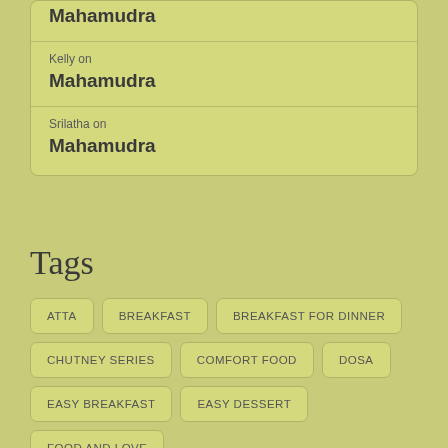Mahamudra
Kelly on
Mahamudra
Srilatha on
Mahamudra
Tags
ATTA
BREAKFAST
BREAKFAST FOR DINNER
CHUTNEY SERIES
COMFORT FOOD
DOSA
EASY BREAKFAST
EASY DESSERT
FOOD AND LOVE